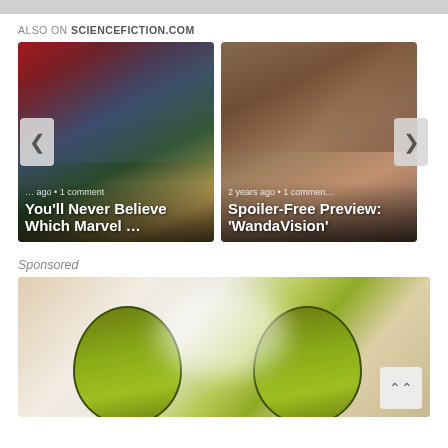ALSO ON SCIENCEFICTION.COM
[Figure (screenshot): Carousel card 1: Marvel group illustration with text 'You'll Never Believe Which Marvel …' and metadata '… ago • 1 comment'. Left navigation arrow visible.]
[Figure (screenshot): Carousel card 2: WandaVision scene with text 'Spoiler-Free Preview: 'WandaVision'' and metadata '2 years ago • 1 comment'. Right navigation arrow visible.]
Sponsored
[Figure (photo): Sponsored image showing close-up of avocado halves on a light background.]